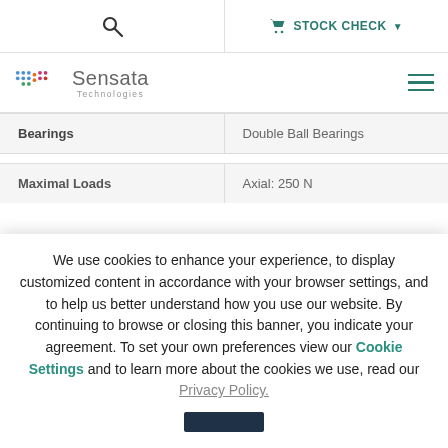Search | STOCK CHECK
[Figure (logo): Sensata Technologies logo with colorful dot grid pattern]
| Property | Value |
| --- | --- |
| Bearings | Double Ball Bearings |
| Maximal Loads | Axial: 250 N |
We use cookies to enhance your experience, to display customized content in accordance with your browser settings, and to help us better understand how you use our website. By continuing to browse or closing this banner, you indicate your agreement. To set your own preferences view our Cookie Settings and to learn more about the cookies we use, read our Privacy Policy.